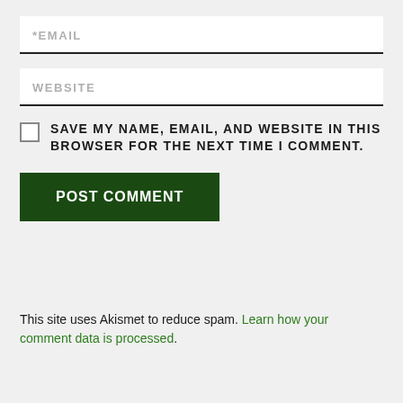[Figure (screenshot): Email input field with placeholder text *EMAIL and a bottom border underline]
[Figure (screenshot): Website input field with placeholder text WEBSITE and a bottom border underline]
SAVE MY NAME, EMAIL, AND WEBSITE IN THIS BROWSER FOR THE NEXT TIME I COMMENT.
[Figure (screenshot): Dark green POST COMMENT button]
This site uses Akismet to reduce spam. Learn how your comment data is processed.